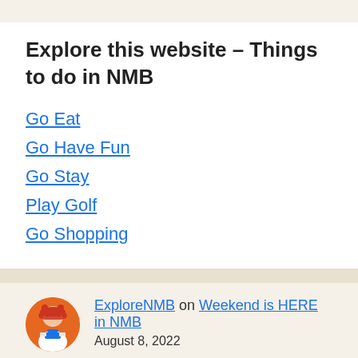Explore this website – Things to do in NMB
Go Eat
Go Have Fun
Go Stay
Play Golf
Go Shopping
ExploreNMB on Weekend is HERE in NMB
August 8, 2022